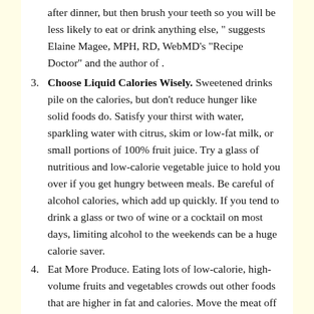after dinner, but then brush your teeth so you will be less likely to eat or drink anything else, " suggests Elaine Magee, MPH, RD, WebMD's "Recipe Doctor" and the author of .
3. Choose Liquid Calories Wisely. Sweetened drinks pile on the calories, but don't reduce hunger like solid foods do. Satisfy your thirst with water, sparkling water with citrus, skim or low-fat milk, or small portions of 100% fruit juice. Try a glass of nutritious and low-calorie vegetable juice to hold you over if you get hungry between meals. Be careful of alcohol calories, which add up quickly. If you tend to drink a glass or two of wine or a cocktail on most days, limiting alcohol to the weekends can be a huge calorie saver.
4. Eat More Produce. Eating lots of low-calorie, high-volume fruits and vegetables crowds out other foods that are higher in fat and calories. Move the meat off the center of your plate and pile on the vegetables. Or try starting lunch or dinner with a vegetable salad or bowl of broth-based soup, suggests Barbara Rolls, PhD, author of . The U.S. government's 2005 Dietary Guidelines suggest that adults get 7-13 cups of produce daily.